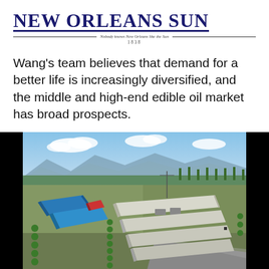NEW ORLEANS SUN — Nobody knows New Orleans like the Sun — 1838
Wang's team believes that demand for a better life is increasingly diversified, and the middle and high-end edible oil market has broad prospects.
[Figure (photo): Aerial view of an industrial/agricultural facility with large warehouse buildings with light-colored roofs, blue-roofed structures on the left, surrounded by trees and roads, with mountains visible in the background under a partly cloudy sky.]